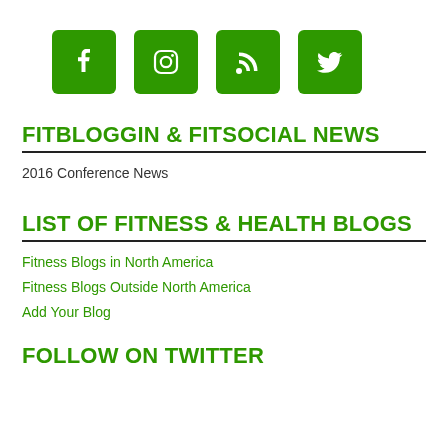[Figure (infographic): Four green square icon buttons: Facebook (f), Instagram (camera), RSS feed, and Twitter (bird)]
FITBLOGGIN & FITSOCIAL NEWS
2016 Conference News
LIST OF FITNESS & HEALTH BLOGS
Fitness Blogs in North America
Fitness Blogs Outside North America
Add Your Blog
FOLLOW ON TWITTER